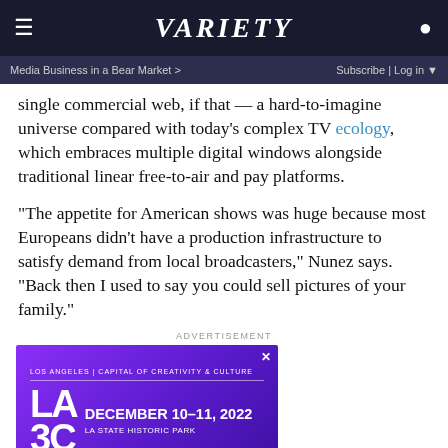VARIETY
Media Business in a Bear Market >   Subscribe | Log in
single commercial web, if that — a hard-to-imagine universe compared with today’s complex TV ecology, which embraces multiple digital windows alongside traditional linear free-to-air and pay platforms.
“The appetite for American shows was huge because most Europeans didn’t have a production infrastructure to satisfy demand from local broadcasters,” Nunez says. “Back then I used to say you could sell pictures of your family.”
ADVERTISEMENT
[Figure (other): LA3C advertisement: Los Angeles Capital of Creativity & Culture, December 10-11, 2022, LA State Historic Park]
[Figure (other): SPY advertisement: BOGO Blink Minis — Get Yours Now]